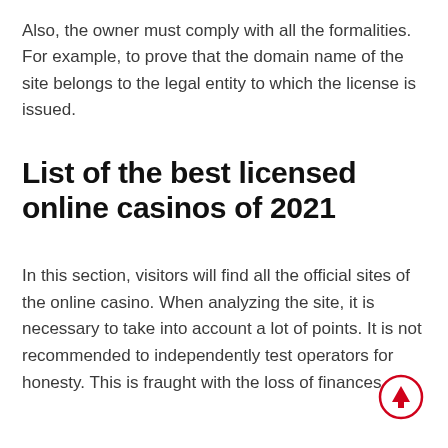Also, the owner must comply with all the formalities. For example, to prove that the domain name of the site belongs to the legal entity to which the license is issued.
List of the best licensed online casinos of 2021
In this section, visitors will find all the official sites of the online casino. When analyzing the site, it is necessary to take into account a lot of points. It is not recommended to independently test operators for honesty. This is fraught with the loss of finances.
[Figure (other): Red circle button with upward arrow icon (scroll-to-top button)]